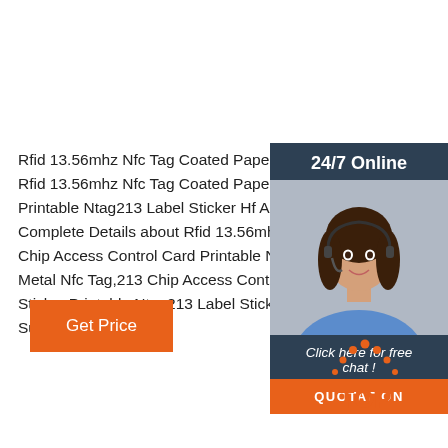Rfid 13.56mhz Nfc Tag Coated Paper 213 Chip Access Control Rfid 13.56mhz Nfc Tag Coated Paper 213 Chip Acce Printable Ntag213 Label Sticker Hf Anti Metal Nfc Ta Complete Details about Rfid 13.56mhz Nfc Tag Coa Chip Access Control Card Printable Ntag213 Label S Metal Nfc Tag,213 Chip Access Control Card,Anti M Sticker,Printable Ntag213 Label Sticker from Access Supplier ...
[Figure (other): Customer service representative sidebar widget showing '24/7 Online' header, photo of woman with headset, 'Click here for free chat!' text, and orange QUOTATION button on dark blue/grey background]
[Figure (logo): TOP logo with orange dots forming a triangle/arch shape above the letters TOP in orange]